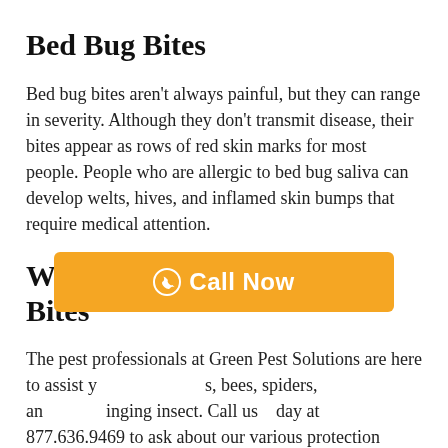Bed Bug Bites
Bed bug bites aren't always painful, but they can range in severity. Although they don't transmit disease, their bites appear as rows of red skin marks for most people. People who are allergic to bed bug saliva can develop welts, hives, and inflamed skin bumps that require medical attention.
We Can Help Prevent Insect Bites
The pest professionals at Green Pest Solutions are here to assist y                                s, bees, spiders, an              inging insect. Call us today at 877.636.9469 to ask about our various protection
[Figure (other): Orange 'Call Now' button overlay with phone icon]